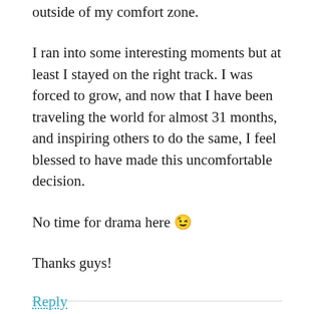outside of my comfort zone.
I ran into some interesting moments but at least I stayed on the right track. I was forced to grow, and now that I have been traveling the world for almost 31 months, and inspiring others to do the same, I feel blessed to have made this uncomfortable decision.
No time for drama here 😉
Thanks guys!
Reply